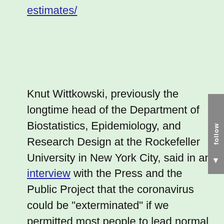estimates/
Knut Wittkowski, previously the longtime head of the Department of Biostatistics, Epidemiology, and Research Design at the Rockefeller University in New York City, said in an interview with the Press and the Public Project that the coronavirus could be "exterminated" if we permitted most people to lead normal lives and sheltered the most vulnerable parts of society until the danger had passed.
https://www.thecollegefix.com/epidemiologist-coronavirus-could-be-exterminated-if-lockdowns-were-lifted/